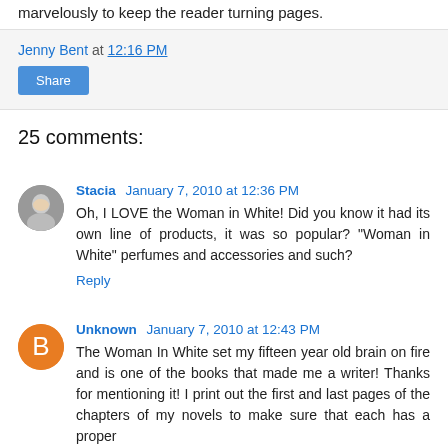marvelously to keep the reader turning pages.
Jenny Bent at 12:16 PM
Share
25 comments:
Stacia January 7, 2010 at 12:36 PM
Oh, I LOVE the Woman in White! Did you know it had its own line of products, it was so popular? "Woman in White" perfumes and accessories and such?
Reply
Unknown January 7, 2010 at 12:43 PM
The Woman In White set my fifteen year old brain on fire and is one of the books that made me a writer! Thanks for mentioning it! I print out the first and last pages of the chapters of my novels to make sure that each has a proper